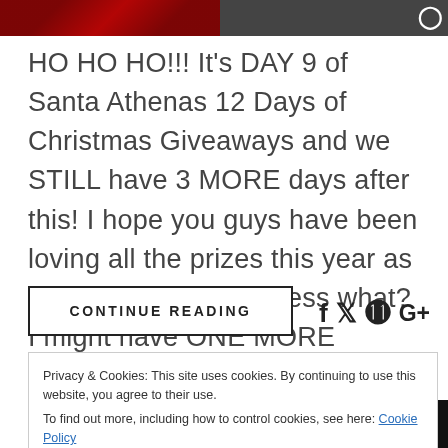[Figure (photo): Top photo strip showing red/dark fabric on the left and a dark image with a circular icon on the right]
HO HO HO!!! It's DAY 9 of Santa Athenas 12 Days of Christmas Giveaways and we STILL have 3 MORE days after this! I hope you guys have been loving all the prizes this year as much as I do! And guess what? I might have ONE MORE giveaway on December 6 but let's focus …
CONTINUE READING
Privacy & Cookies: This site uses cookies. By continuing to use this website, you agree to their use.
To find out more, including how to control cookies, see here: Cookie Policy
Close and accept